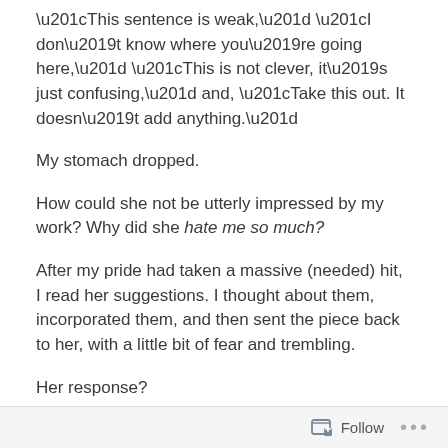“This sentence is weak,” “I don’t know where you’re going here,” “This is not clever, it’s just confusing,” and, “Take this out. It doesn’t add anything.”
My stomach dropped.
How could she not be utterly impressed by my work? Why did she hate me so much?
After my pride had taken a massive (needed) hit, I read her suggestions. I thought about them, incorporated them, and then sent the piece back to her, with a little bit of fear and trembling.
Her response?
“Much better. Good work.”
Follow ...